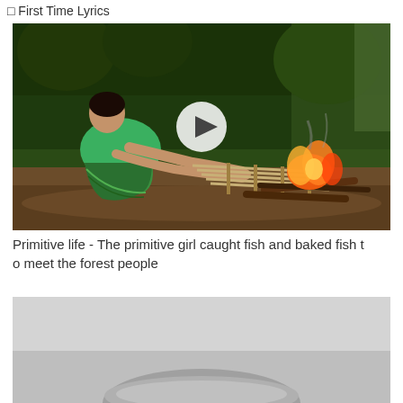□ First Time Lyrics
[Figure (photo): A woman in a green traditional outfit crouching near a campfire in a forest, grilling fish on bamboo skewers over an open fire. A white play button overlay is visible in the center.]
Primitive life - The primitive girl caught fish and baked fish to meet the forest people
[Figure (photo): Partial view of what appears to be a gray bowl or pot on a light gray background, partially cut off at the bottom of the page.]